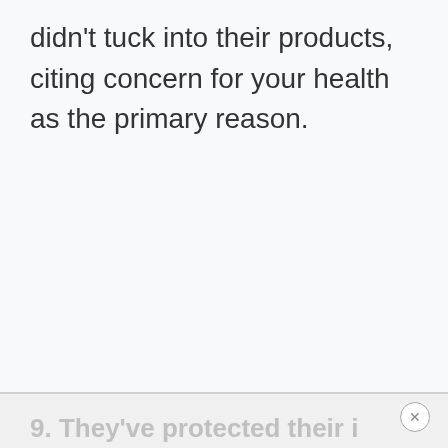didn't tuck into their products, citing concern for your health as the primary reason.
9. They've protected their...